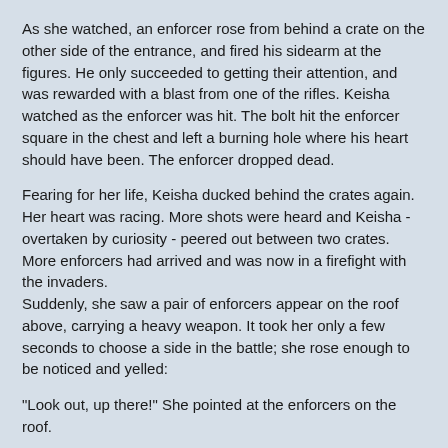As she watched, an enforcer rose from behind a crate on the other side of the entrance, and fired his sidearm at the figures. He only succeeded to getting their attention, and was rewarded with a blast from one of the rifles. Keisha watched as the enforcer was hit. The bolt hit the enforcer square in the chest and left a burning hole where his heart should have been. The enforcer dropped dead.
Fearing for her life, Keisha ducked behind the crates again. Her heart was racing. More shots were heard and Keisha - overtaken by curiosity - peered out between two crates. More enforcers had arrived and was now in a firefight with the invaders.
Suddenly, she saw a pair of enforcers appear on the roof above, carrying a heavy weapon. It took her only a few seconds to choose a side in the battle; she rose enough to be noticed and yelled:
"Look out, up there!" She pointed at the enforcers on the roof.
One of the invaders saw her, and swung his weapon to shoot her. As he did so, his gaze followed her arm and he saw the enforcers. He yelled something unintelligible. Another invader turned and they both fired a volley from their rifles. Crimson bolts of energy laced through the air, cutting down the enforcers on the roof. The invader who had seen her first yelled something and motioned for her to hide, which she promptly did.